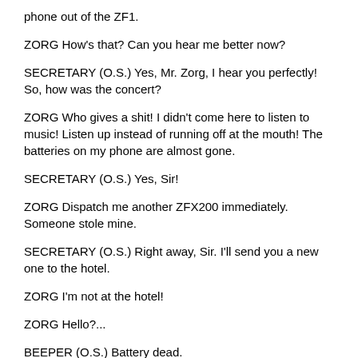phone out of the ZF1.
ZORG How's that? Can you hear me better now?
SECRETARY (O.S.) Yes, Mr. Zorg, I hear you perfectly! So, how was the concert?
ZORG Who gives a shit! I didn't come here to listen to music! Listen up instead of running off at the mouth! The batteries on my phone are almost gone.
SECRETARY (O.S.) Yes, Sir!
ZORG Dispatch me another ZFX200 immediately. Someone stole mine.
SECRETARY (O.S.) Right away, Sir. I'll send you a new one to the hotel.
ZORG I'm not at the hotel!
ZORG Hello?...
BEEPER (O.S.) Battery dead.
Zorg is all alone, lost, in the middle of the glacier.